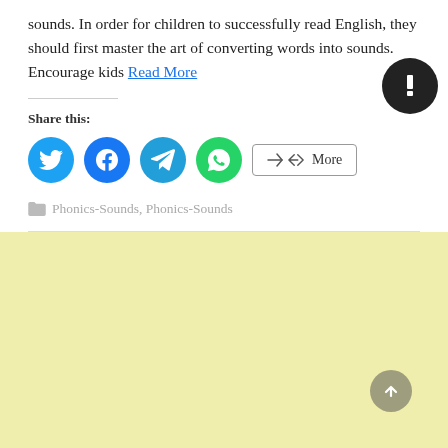sounds. In order for children to successfully read English, they should first master the art of converting words into sounds. Encourage kids Read More
[Figure (other): Dark circular button/icon in upper right area]
Share this:
[Figure (other): Social share buttons: Twitter (cyan circle), Facebook (blue circle), Telegram (teal circle), WhatsApp (green circle), More button (bordered rectangle)]
Phonics-Sounds, Phonics-Sounds
[Figure (other): Yellow/cream background section at bottom with a scroll-to-top grey circular arrow button at bottom right]